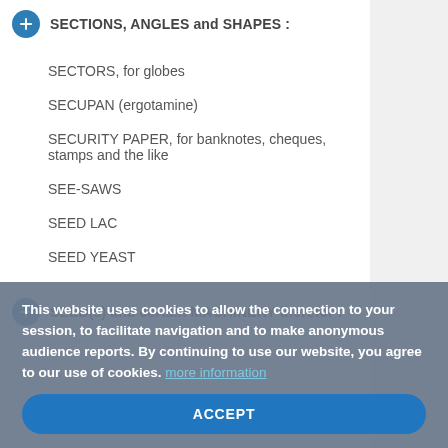SECTIONS, ANGLES and SHAPES :
SECTORS, for globes
SECUPAN (ergotamine)
SECURITY PAPER, for banknotes, cheques, stamps and the like
SEE-SAWS
SEED LAC
SEED YEAST
SEED(s) and certain MACHINERY therefor :
This website uses cookies to allow the connection to your session, to facilitate navigation and to make anonymous audience reports. By continuing to use our website, you agree to our use of cookies. more information
ACCEPT